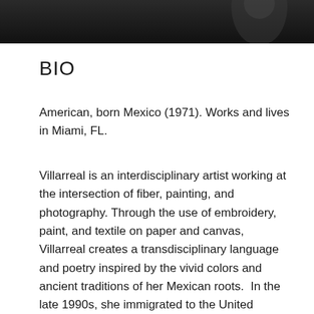[Figure (photo): Black and white photograph of a person, cropped at the top of the page]
BIO
American, born Mexico (1971). Works and lives in Miami, FL.
Villarreal is an interdisciplinary artist working at the intersection of fiber, painting, and photography. Through the use of embroidery, paint, and textile on paper and canvas, Villarreal creates a transdisciplinary language and poetry inspired by the vivid colors and ancient traditions of her Mexican roots.  In the late 1990s, she immigrated to the United States, a process that underscored the economic and social disparities between the two countries.  Creating tensions among her multimedia works, Villarreal integrates both environmental geographies